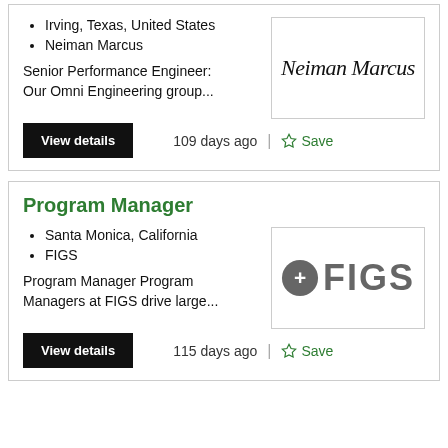Irving, Texas, United States
Neiman Marcus
[Figure (logo): Neiman Marcus cursive script logo]
Senior Performance Engineer: Our Omni Engineering group...
View details
109 days ago
Save
Program Manager
Santa Monica, California
FIGS
[Figure (logo): FIGS logo with plus icon and bold FIGS text in gray]
Program Manager Program Managers at FIGS drive large...
View details
115 days ago
Save